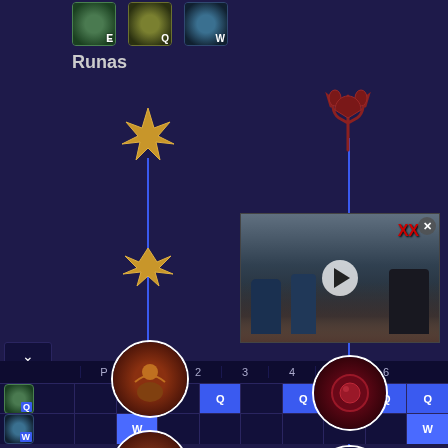[Figure (screenshot): League of Legends game guide UI showing skill icons (E, Q, W) at top, a Runas (Runes) section with two rune trees displayed vertically with icons connected by blue lines, a video advertisement overlay in the bottom right, and a skill leveling bar at the bottom showing Q and W ability levels across 6 game levels.]
Runas
|  | P | 1 | 2 | 3 | 4 | 5 | 6 |
| --- | --- | --- | --- | --- | --- | --- | --- |
| Q icon |  |  |  | Q |  | Q | Q | Q | Q |
| W icon |  | W |  |  |  |  |  |  | W |